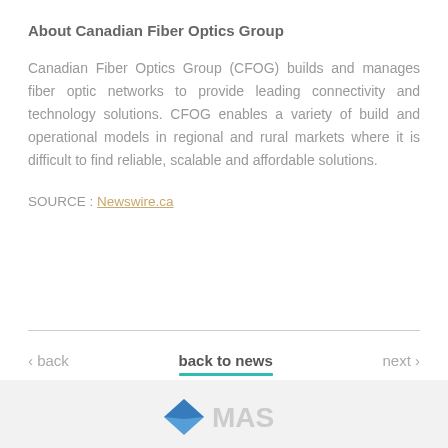About Canadian Fiber Optics Group
Canadian Fiber Optics Group (CFOG) builds and manages fiber optic networks to provide leading connectivity and technology solutions. CFOG enables a variety of build and operational models in regional and rural markets where it is difficult to find reliable, scalable and affordable solutions.
SOURCE : Newswire.ca
< back    back to news    next >
[Figure (logo): Footer logo partially visible at bottom of page]